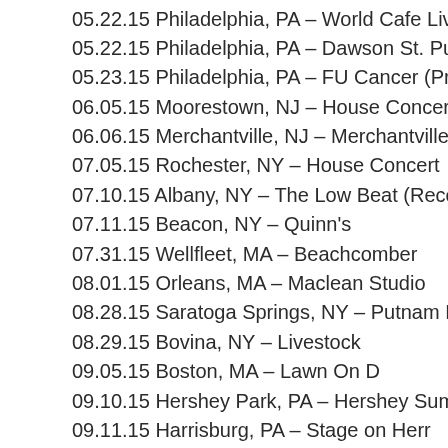05.22.15 Philadelphia, PA – World Cafe Live (Free At Noon)
05.22.15 Philadelphia, PA – Dawson St. Pub
05.23.15 Philadelphia, PA – FU Cancer (Private Event)
06.05.15 Moorestown, NJ – House Concert
06.06.15 Merchantville, NJ – Merchantville Music Fest
07.05.15 Rochester, NY – House Concert
07.10.15 Albany, NY – The Low Beat (Record Release Show)
07.11.15 Beacon, NY – Quinn's
07.31.15 Wellfleet, MA – Beachcomber
08.01.15 Orleans, MA – Maclean Studio
08.28.15 Saratoga Springs, NY – Putnam Den
08.29.15 Bovina, NY – Livestock
09.05.15 Boston, MA – Lawn On D
09.10.15 Hershey Park, PA – Hershey Summer Concert Series
09.11.15 Harrisburg, PA – Stage on Herr
09.23.15 Madison, WI – Kiki's House of Righteous Music
09.24.15 Milwaukee, WI – Linnemans
09.25.15 Green Bay, WI – Phat Headz
09.26.15 St. Louis, MO – Wood House Concerts